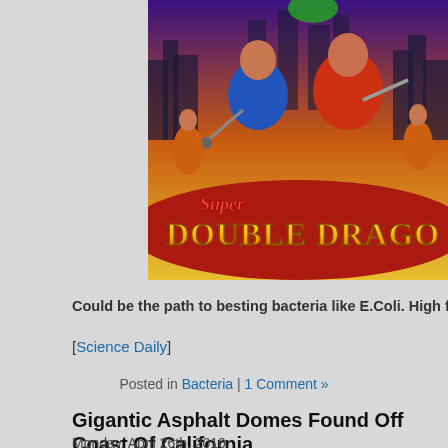[Figure (illustration): Super Double Dragon video game cover art showing two martial artists fighting in front of a city skyline with the game title in yellow text at the bottom]
Could be the path to besting bacteria like E.Coli. High five!
[Science Daily]
Posted in Bacteria | 1 Comment »
Gigantic Asphalt Domes Found Off Coast Of California
Monday, April 26th, 2010